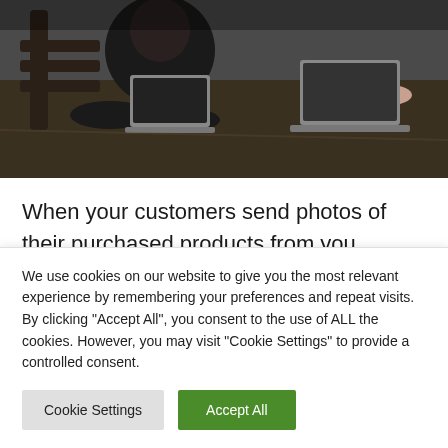[Figure (photo): Photo of people sitting at a table working on laptops, viewed from above/angle, dark tones]
When your customers send photos of their purchased products from you, always thank them publicly to create kindness in your brand and work. You can also encourage your followers to talk about your merch on their profiles. This technique is
We use cookies on our website to give you the most relevant experience by remembering your preferences and repeat visits. By clicking "Accept All", you consent to the use of ALL the cookies. However, you may visit "Cookie Settings" to provide a controlled consent.